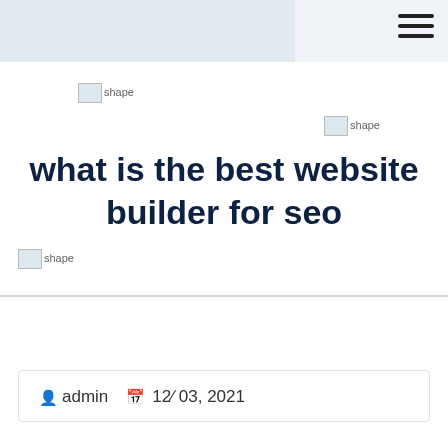[Figure (illustration): Decorative shape image placeholder (top left)]
[Figure (illustration): Decorative shape image placeholder (top right)]
what is the best website builder for seo
[Figure (illustration): Decorative shape image placeholder (bottom left)]
admin   12/ 03, 2021